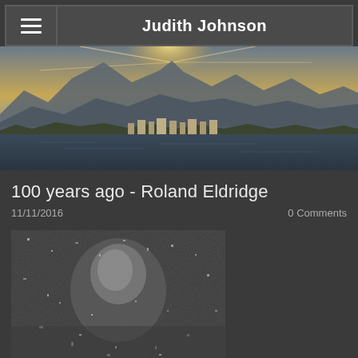Judith Johnson
[Figure (photo): Panoramic landscape photo showing a mountain range at sunset/sunrise with a lakeside town in the foreground]
100 years ago - Roland Eldridge
11/11/2016    0 Comments
[Figure (photo): Old grainy black and white portrait photograph, heavily degraded]